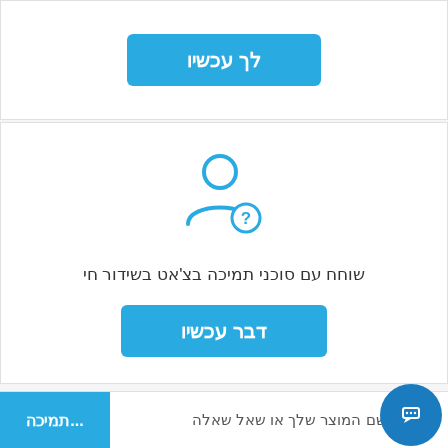[Figure (other): Blue button with Hebrew text 'לך עכשיו' (Go Now)]
[Figure (illustration): Person/user icon with question mark badge in blue outline style]
שוחח עם סוכני תמיכה בצ'אט בשידור חי
[Figure (other): Blue button with Hebrew text 'דבר עכשיו' (Speak Now)]
הזן את שם המוצר שלך או שאל שאלה
תמיכה...